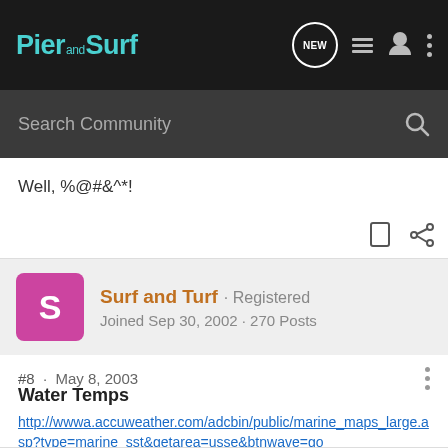Pier and Surf
Search Community
Well, %@#&^*!
Surf and Turf · Registered
Joined Sep 30, 2002 · 270 Posts
#8 · May 8, 2003
Water Temps
http://wwwa.accuweather.com/adcbin/public/marine_maps_large.asp?type=marine_sst&getarea=usse&btnwave=go